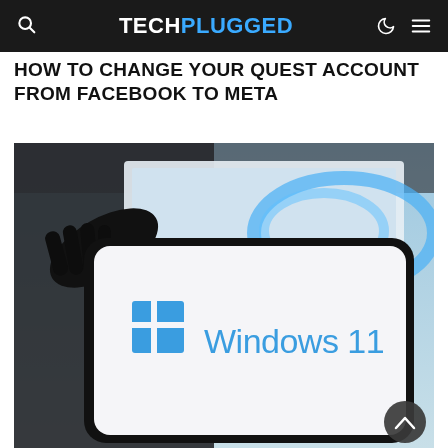TECHPLUGGED
HOW TO CHANGE YOUR QUEST ACCOUNT FROM FACEBOOK TO META
[Figure (photo): A hand holding a smartphone displaying the Windows 11 logo in front of a blurred monitor showing the Windows 11 wallpaper with the Microsoft logo in blue]